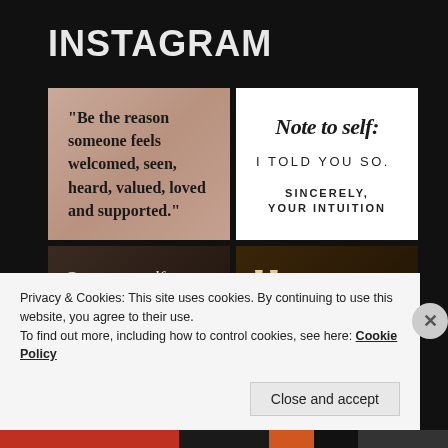INSTAGRAM
[Figure (photo): Instagram quote image on beige/brown background: “Be the reason someone feels welcomed, seen, heard, valued, loved and supported.”]
[Figure (photo): Instagram text image on white background: 'Note to self: I TOLD YOU SO. SINCERELY, YOUR INTUITION']
[Figure (photo): Instagram image on dark background with italic text: 'Grant yourself']
[Figure (photo): Instagram image on dark brown background with large quotation marks and a yellow rectangle border element]
Privacy & Cookies: This site uses cookies. By continuing to use this website, you agree to their use.
To find out more, including how to control cookies, see here: Cookie Policy
Close and accept